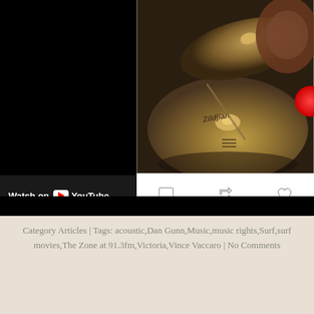[Figure (screenshot): Embedded YouTube video player (black panel, left side) with 'Watch on YouTube' bar at the bottom, and a Twitter/social media post (right side) showing a photo of Zildjian cymbals with interaction icons (comment, retweet, like) below.]
Category Articles | Tags: acoustic,Dan Gunn,Music,music rights,Surf,surf movies,The Zone at 91.3fm,Victoria,Vince Vaccaro | No Comments